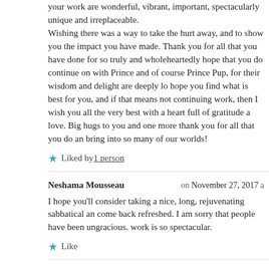your work are wonderful, vibrant, important, spectacularly unique and irreplaceable. Wishing there was a way to take the hurt away, and to show you the impact you have made. Thank you for all that you have done for so truly and wholeheartedly hope that you do continue on with Prince and of course Prince Pup, for their wisdom and delight are deeply lo hope you find what is best for you, and if that means not continuing work, then I wish you all the very best with a heart full of gratitude a love. Big hugs to you and one more thank you for all that you do an bring into so many of our worlds!
Liked by 1 person
Neshama Mousseau on November 27, 2017 a
I hope you'll consider taking a nice, long, rejuvenating sabbatical an come back refreshed. I am sorry that people have been ungracious. work is so spectacular.
Like
Mary on November 27, 2017 a
Sending encouragement and support from Arizona. I as well would